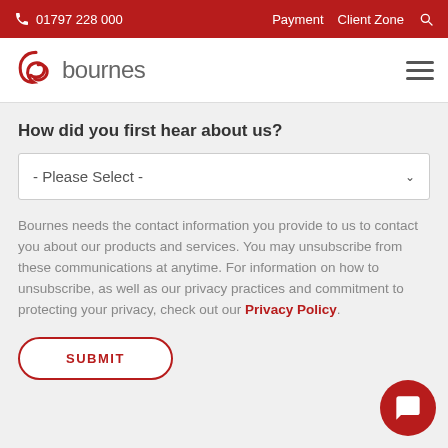01797 228 000  Payment  Client Zone
[Figure (logo): Bournes removals company logo - red swirl icon with 'bournes' text]
How did you first hear about us?
- Please Select -
Bournes needs the contact information you provide to us to contact you about our products and services. You may unsubscribe from these communications at anytime. For information on how to unsubscribe, as well as our privacy practices and commitment to protecting your privacy, check out our Privacy Policy.
SUBMIT